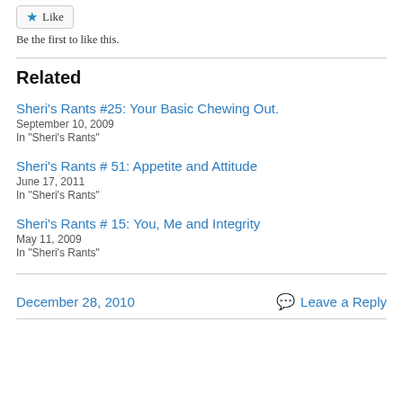[Figure (other): Like button with blue star icon]
Be the first to like this.
Related
Sheri's Rants #25: Your Basic Chewing Out.
September 10, 2009
In "Sheri's Rants"
Sheri's Rants # 51: Appetite and Attitude
June 17, 2011
In "Sheri's Rants"
Sheri's Rants # 15: You, Me and Integrity
May 11, 2009
In "Sheri's Rants"
December 28, 2010
Leave a Reply